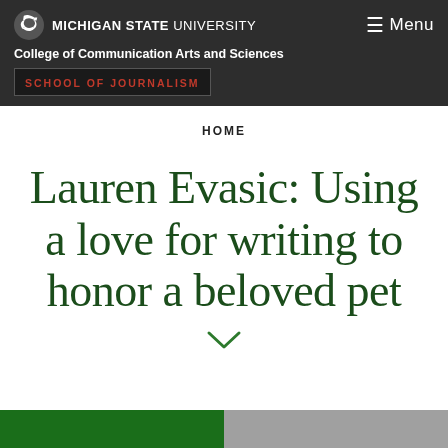Michigan State University — College of Communication Arts and Sciences — School of Journalism
HOME
Lauren Evasic: Using a love for writing to honor a beloved pet
[Figure (screenshot): Green and grey bottom strip indicating image content below]